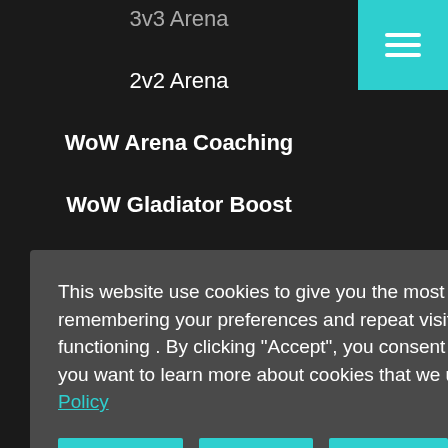3v3 Arena
2v2 Arena
WoW Arena Coaching
WoW Gladiator Boost
This website use cookies to give you the most relevant experience by remembering your preferences and repeat visits, which are necessary for its functioning . By clicking “Accept”, you consent to the use of all the cookies. If you want to learn more about cookies that we use, please refer to our Privacy Policy
Settings | Accept | Decline